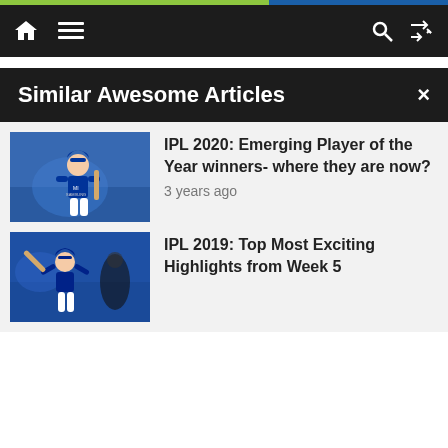Navigation bar with home, menu, search, and shuffle icons
Kings (CSK) without Suresh Raina
Pingback: IPL 2020 Special: Strongest Predicted 11 of Ch...
Co...
Similar Awesome Articles
[Figure (photo): Cricket player in Mumbai Indians blue jersey batting]
IPL 2020: Emerging Player of the Year winners- where they are now?
3 years ago
[Figure (photo): Cricket player celebrating in blue jersey]
IPL 2019: Top Most Exciting Highlights from Week 5